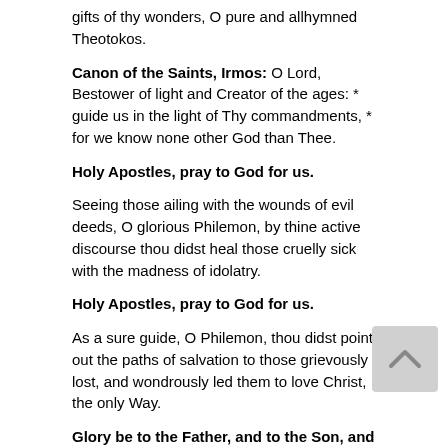gifts of thy wonders, O pure and allhymned Theotokos.
Canon of the Saints, Irmos: O Lord, Bestower of light and Creator of the ages: * guide us in the light of Thy commandments, * for we know none other God than Thee.
Holy Apostles, pray to God for us.
Seeing those ailing with the wounds of evil deeds, O glorious Philemon, by thine active discourse thou didst heal those cruelly sick with the madness of idolatry.
Holy Apostles, pray to God for us.
As a sure guide, O Philemon, thou didst point out the paths of salvation to those grievously lost, and wondrously led them to love Christ, the only Way.
Glory be to the Father, and to the Son, and to the Holy Spirit.
Today the honored Church of Christ in Colossae doth sing the splendid festival of the godly Archippus, honoring also the divinely eloquent Philemon.
Now and ever, and unto the ages of ages. Amen.